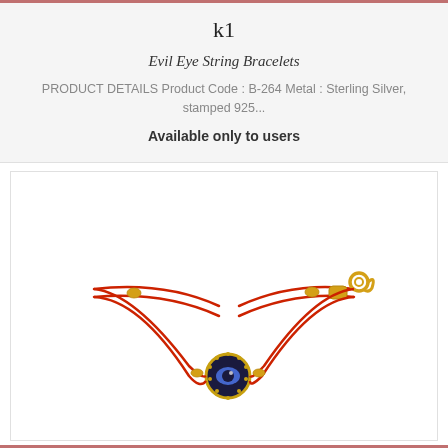k1
Evil Eye String Bracelets
PRODUCT DETAILS Product Code : B-264 Metal : Sterling Silver, stamped 925...
Available only to users
[Figure (photo): Evil Eye String Bracelet with red cord, gold-tone clasp and beads, and dark blue circular evil eye charm in the center]